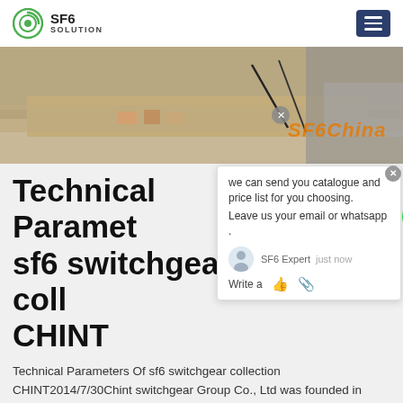SF6 SOLUTION
[Figure (photo): Hero banner image showing outdoor electrical switchgear equipment on gravel/grass ground with cables, with SF6China watermark text overlay in orange.]
Technical Parameters Of sf6 switchgear collection CHINT
Technical Parameters Of sf6 switchgear collection CHINT2014/7/30Chint switchgear Group Co., Ltd was founded in 1988 with 25 years experience in switchgear and substation. Chint is national high-tech enterprise
Get Price